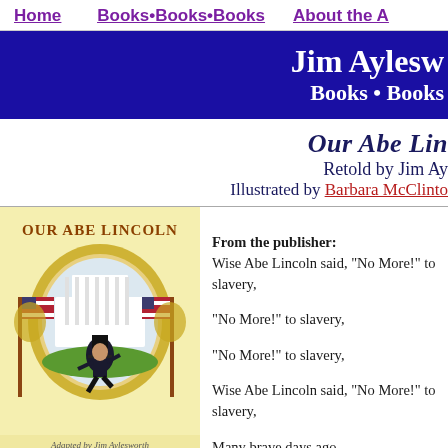Home    Books•Books•Books    About the A
Jim Aylesw...
Books • Books
Our Abe Lin...
Retold by Jim Ay...
Illustrated by Barbara McClinto...
[Figure (illustration): Book cover of 'Our Abe Lincoln' showing Abraham Lincoln as a child dancing in front of the White House, surrounded by American flags and a ornate gold frame. Text at bottom reads 'Adapted by Jim Aylesworth'.]
From the publisher:
Wise Abe Lincoln said, "No More!" to slavery,

"No More!" to slavery,

"No More!" to slavery,

Wise Abe Lincoln said, "No More!" to slavery,

Many brave days ago.